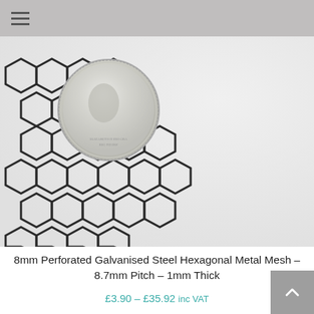≡ (hamburger menu icon)
[Figure (photo): Close-up photo of hexagonal galvanised steel mesh with a British coin (showing Queen Elizabeth II profile) placed on top for scale. The mesh has dark metallic hexagonal perforations against a light grey/white background.]
8mm Perforated Galvanised Steel Hexagonal Metal Mesh – 8.7mm Pitch – 1mm Thick
£3.90 – £35.92 inc VAT